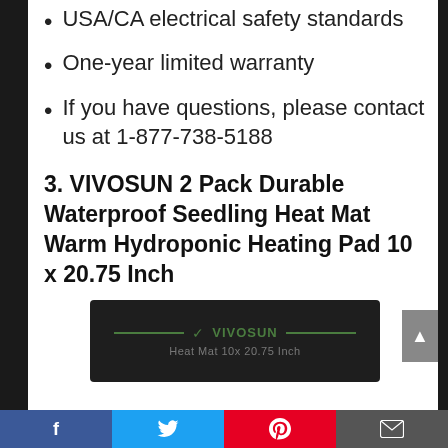USA/CA electrical safety standards
One-year limited warranty
If you have questions, please contact us at 1-877-738-5188
3. VIVOSUN 2 Pack Durable Waterproof Seedling Heat Mat Warm Hydroponic Heating Pad 10 x 20.75 Inch
[Figure (photo): VIVOSUN seedling heat mat product image showing black mat with green VIVOSUN logo and text 'Heat Mat 10x 20.75 Inch']